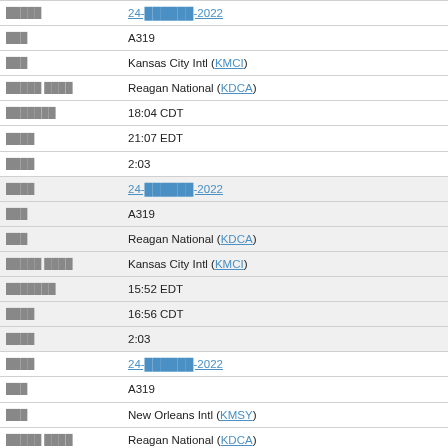| [label] | 24-[redacted]-2022 |
| [label] | A319 |
| [label] | Kansas City Intl (KMCI) |
| [label] | Reagan National (KDCA) |
| [label] | 18:04 CDT |
| [label] | 21:07 EDT |
| [label] | 2:03 |
| [label] | 24-[redacted]-2022 |
| [label] | A319 |
| [label] | Reagan National (KDCA) |
| [label] | Kansas City Intl (KMCI) |
| [label] | 15:52 EDT |
| [label] | 16:56 CDT |
| [label] | 2:03 |
| [label] | 24-[redacted]-2022 |
| [label] | A319 |
| [label] | New Orleans Intl (KMSY) |
| [label] | Reagan National (KDCA) |
| [label] | 11:39 CDT |
| [label] | 14:43 EDT |
| [label] | 2:03 |